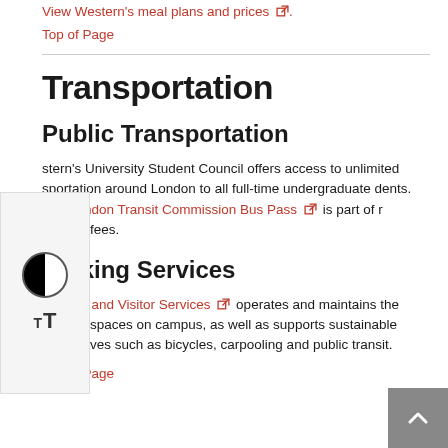View Western's meal plans and prices .
Top of Page
Transportation
Public Transportation
stern's University Student Council offers access to unlimited sportation around London to all full-time undergraduate dents. The London Transit Commission Bus Pass is part of r student fees.
Parking Services
Parking and Visitor Services operates and maintains the parking spaces on campus, as well as supports sustainable alternatives such as bicycles, carpooling and public transit.
Top of Page